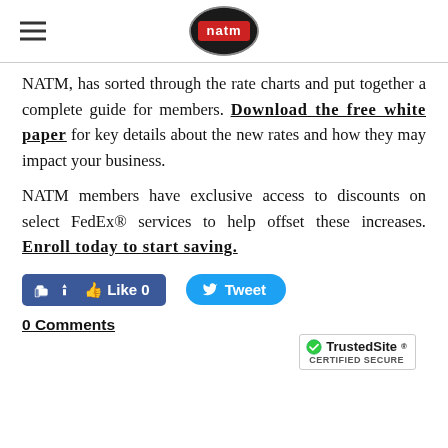NATM logo header with hamburger menu
NATM, has sorted through the rate charts and put together a complete guide for members. Download the free white paper for key details about the new rates and how they may impact your business.
NATM members have exclusive access to discounts on select FedEx® services to help offset these increases. Enroll today to start saving.
[Figure (other): Social media buttons: Facebook Like (0) button and Twitter Tweet button]
0 Comments
[Figure (logo): TrustedSite Certified Secure badge]